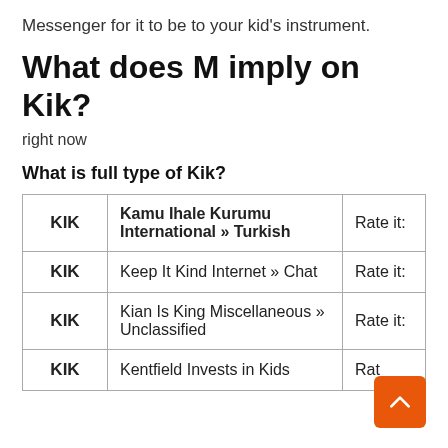Messenger for it to be to your kid's instrument.
What does M imply on Kik?
right now
What is full type of Kik?
| KIK |  | Rate it: |
| --- | --- | --- |
| KIK | Kamu Ihale Kurumu International » Turkish | Rate it: |
| KIK | Keep It Kind Internet » Chat | Rate it: |
| KIK | Kian Is King Miscellaneous » Unclassified | Rate it: |
| KIK | Kentfield Invests in Kids... | Rat... |